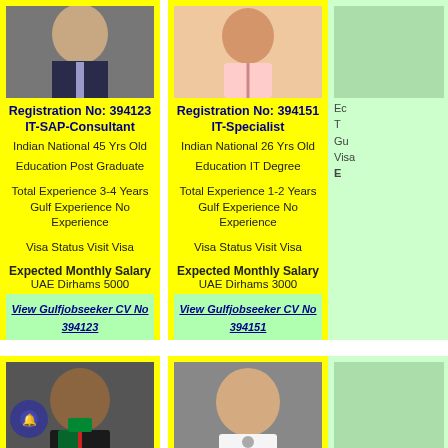[Figure (photo): Profile photo of IT-SAP-Consultant (Registration No 394123), male in suit and tie]
Registration No: 394123
IT-SAP-Consultant
Indian National 45 Yrs Old

Education Post Graduate

Total Experience 3-4 Years
Gulf Experience No Experience

Visa Status Visit Visa

Expected Monthly Salary
UAE Dirhams 5000
View Gulfjobseeker CV No 394123
[Figure (photo): Profile photo of IT-Specialist (Registration No 394151), male in pink shirt]
Registration No: 394151
IT-Specialist
Indian National 26 Yrs Old

Education IT Degree

Total Experience 1-2 Years
Gulf Experience No Experience

Visa Status Visit Visa

Expected Monthly Salary
UAE Dirhams 3000
View Gulfjobseeker CV No 394151
[Figure (photo): Profile photo of IT-Web-Programmer (Registration No 394034), Jordanian male in suit with red tie and green sash]
Registration No: 394034
IT-Web-Programmer
Jordanian National 29 Yrs Old

Education IT Degree
[Figure (photo): Profile photo of IT-System-Administrator (Registration No 394047), Filipino male smiling in white shirt]
Registration No: 394047
IT-System-Administrator
Filipino National 25 Yrs Old

Education Graduate